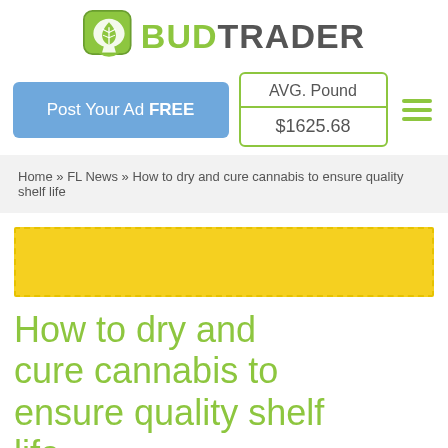[Figure (logo): BudTrader logo with cannabis leaf icon in a speech bubble and bold text BUDTRADER]
Post Your Ad FREE
AVG. Pound
$1625.68
Home » FL News » How to dry and cure cannabis to ensure quality shelf life
[Figure (photo): Yellow image banner placeholder]
How to dry and cure cannabis to ensure quality shelf life